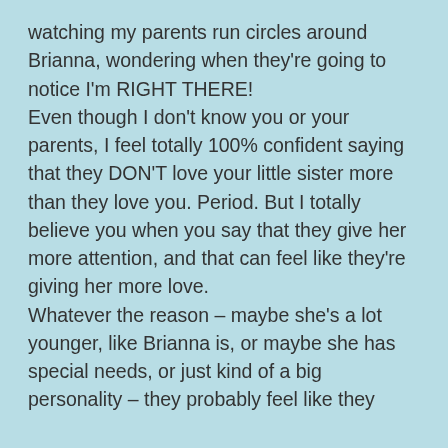watching my parents run circles around Brianna, wondering when they're going to notice I'm RIGHT THERE!
Even though I don't know you or your parents, I feel totally 100% confident saying that they DON'T love your little sister more than they love you. Period. But I totally believe you when you say that they give her more attention, and that can feel like they're giving her more love.
Whatever the reason – maybe she's a lot younger, like Brianna is, or maybe she has special needs, or just kind of a big personality – they probably feel like they